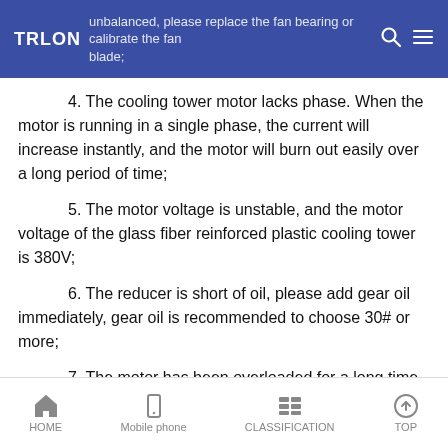TRLON — unbalanced, please replace the fan bearing or calibrate the fan blade;
4. The cooling tower motor lacks phase. When the motor is running in a single phase, the current will increase instantly, and the motor will burn out easily over a long period of time;
5. The motor voltage is unstable, and the motor voltage of the glass fiber reinforced plastic cooling tower is 380V;
6. The reducer is short of oil, please add gear oil immediately, gear oil is recommended to choose 30# or more;
7. The motor has been overloaded for a long time or started too frequently.
The above reasons are the main reasons for the excessive
HOME   Mobile phone   CLASSIFICATION   TOP